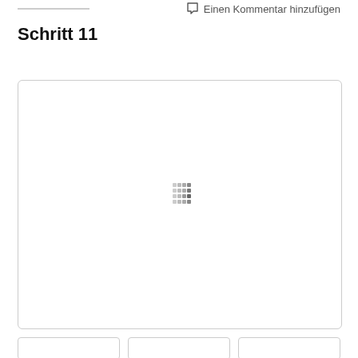Einen Kommentar hinzufügen
Schritt 11
[Figure (photo): Loading image placeholder with spinner dots in the center of a white bordered box]
[Figure (photo): Three thumbnail image placeholders at the bottom]